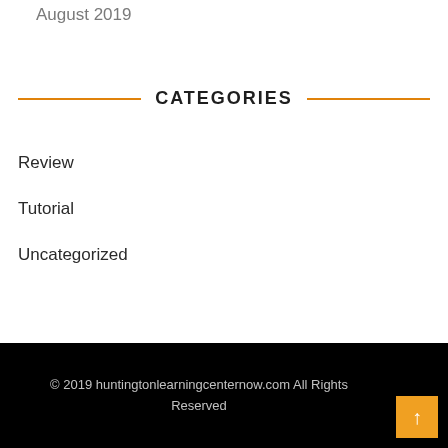August 2019
CATEGORIES
Review
Tutorial
Uncategorized
© 2019 huntingtonlearningcenternow.com All Rights Reserved